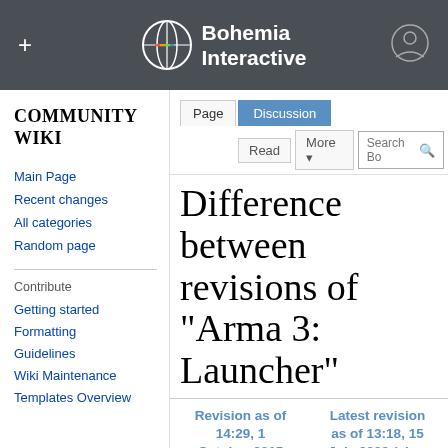Bohemia Interactive Community Wiki
Difference between revisions of "Arma 3: Launcher"
COMMUNITY WIKI
Main Page
Recent changes
All categories
Random page
Contribute
Getting started
Formatting
Guidelines
Wiki Maintenance
Templates Overview
| Revision as of 14:29, 1 October 2015 (view source) | Latest revision as of 13:18, 15 July 2022 (view source) |
| --- | --- |
| DarkDruid (talk | contribs) | Lou Montana (talk | contribs) |
| m (Few typos fixed) | m (Text ...) |